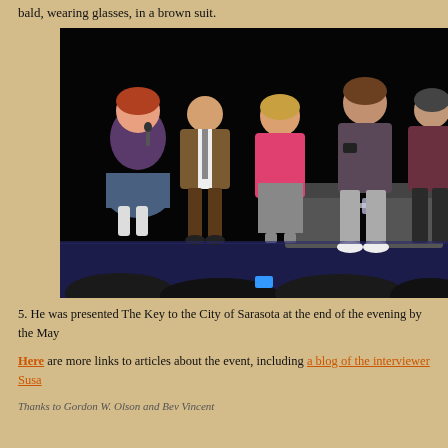bald, wearing glasses, in a brown suit.
[Figure (photo): Five people standing on a stage with a dark background. A woman in a blue patterned skirt and dark top holds a microphone on the left, next to a bald man in a brown suit, a woman in pink, a tall man in casual clothes, and another person on the far right. Stage chairs and a small table are visible.]
5. He was presented The Key to the City of Sarasota at the end of the evening by the May
Here are more links to articles about the event, including a blog of the interviewer Susa
Thanks to Gordon W. Olson and Bev Vincent